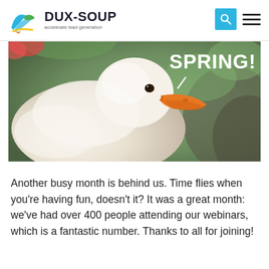DUX-SOUP accelerate lead generation
[Figure (photo): Close-up photo of a white duck with an orange beak against a blurred green background, with bold white text 'SPRING!' overlaid on the right side]
Another busy month is behind us. Time flies when you're having fun, doesn't it? It was a great month: we've had over 400 people attending our webinars, which is a fantastic number. Thanks to all for joining!